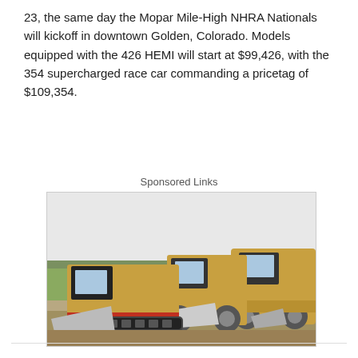23, the same day the Mopar Mile-High NHRA Nationals will kickoff in downtown Golden, Colorado. Models equipped with the 426 HEMI will start at $99,426, with the 354 supercharged race car commanding a pricetag of $109,354.
Sponsored Links
[Figure (photo): Advertisement banner showing multiple yellow construction/heavy equipment machines (skid steer, bulldozer, wheel loaders) parked on a dirt lot with trees in the background. An ad indicator icon (play/close buttons) appears in the top-right corner.]